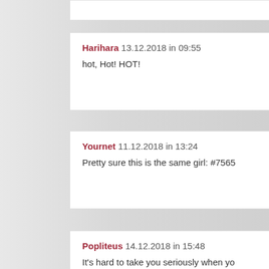Harihara 13.12.2018 in 09:55
hot, Hot! HOT!
Yournet 11.12.2018 in 13:24
Pretty sure this is the same girl: #7565
Popliteus 14.12.2018 in 15:48
It's hard to take you seriously when yo... not trust.
Skilful 19.12.2018 in 20:41
I am a open book written in a different